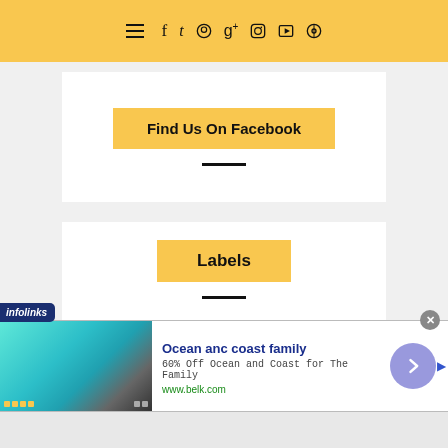☰ f tw pinterest g+ instagram youtube search
[Figure (screenshot): Find Us On Facebook button on white card with yellow background button and divider line]
[Figure (screenshot): Labels button on white card with yellow background button, divider line, and Technology text]
[Figure (screenshot): Infolinks ad banner: Ocean anc coast family - 60% Off Ocean and Coast for The Family, www.belk.com]